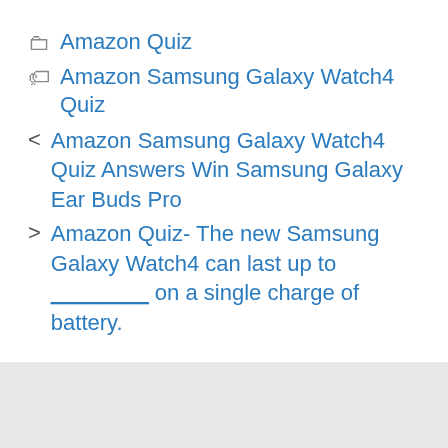Amazon Quiz
Amazon Samsung Galaxy Watch4 Quiz
Amazon Samsung Galaxy Watch4 Quiz Answers Win Samsung Galaxy Ear Buds Pro
Amazon Quiz- The new Samsung Galaxy Watch4 can last up to ________ on a single charge of battery.